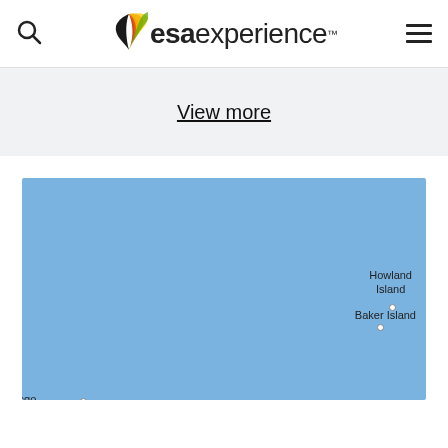esaexperience
View more
[Figure (map): A map showing a Pacific Ocean area with location labels: Howland Island, Baker Island, Rungata, Roreti, and a partial label 'ngo' at the left edge. The map background is light blue representing ocean.]